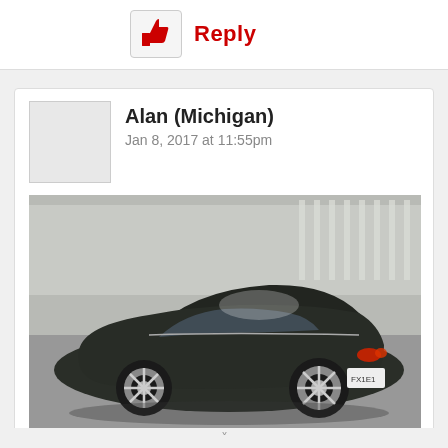Reply
Alan (Michigan)
Jan 8, 2017 at 11:55pm
[Figure (photo): A dark green/black Jaguar sedan photographed from the rear three-quarter angle in a parking area with a wooden fence in the background.]
You are correct of course, I must have been sleeping when I posted that. The car I “bought” at auction and did not take was